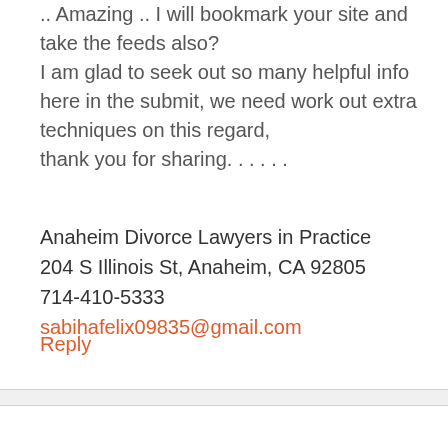.. Amazing .. I will bookmark your site and take the feeds also?
I am glad to seek out so many helpful info here in the submit, we need work out extra techniques on this regard,
thank you for sharing. . . . . .
Anaheim Divorce Lawyers in Practice
204 S Illinois St, Anaheim, CA 92805
714-410-5333
sabihafelix09835@gmail.com
Reply